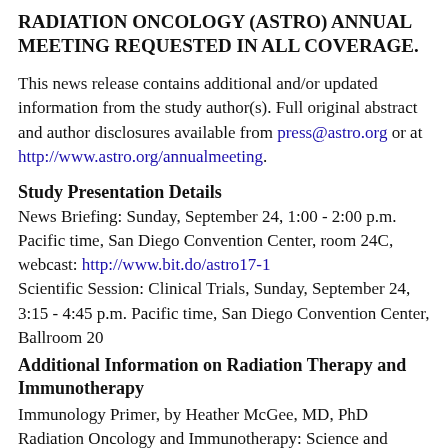RADIATION ONCOLOGY (ASTRO) ANNUAL MEETING REQUESTED IN ALL COVERAGE.
This news release contains additional and/or updated information from the study author(s). Full original abstract and author disclosures available from press@astro.org or at http://www.astro.org/annualmeeting.
Study Presentation Details
News Briefing: Sunday, September 24, 1:00 - 2:00 p.m. Pacific time, San Diego Convention Center, room 24C, webcast: http://www.bit.do/astro17-1
Scientific Session: Clinical Trials, Sunday, September 24, 3:15 - 4:45 p.m. Pacific time, San Diego Convention Center, Ballroom 20
Additional Information on Radiation Therapy and Immunotherapy
Immunology Primer, by Heather McGee, MD, PhD
Radiation Oncology and Immunotherapy: Science and...